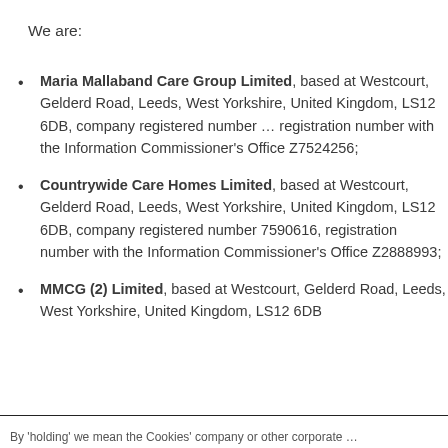We are:
Maria Mallaband Care Group Limited, based at Westcourt, Gelderd Road, Leeds, West Yorkshire, United Kingdom, LS12 6DB, company registered number … registration number with the Information Commissioner's Office Z7524256;
Countrywide Care Homes Limited, based at Westcourt, Gelderd Road, Leeds, West Yorkshire, United Kingdom, LS12 6DB, company registered number 7590616, registration number with the Information Commissioner's Office Z2888993;
MMCG (2) Limited, based at Westcourt, Gelderd Road, Leeds, West Yorkshire, United Kingdom, LS12 6DB …
By 'holding' we mean the Cookies' company or other corporate …